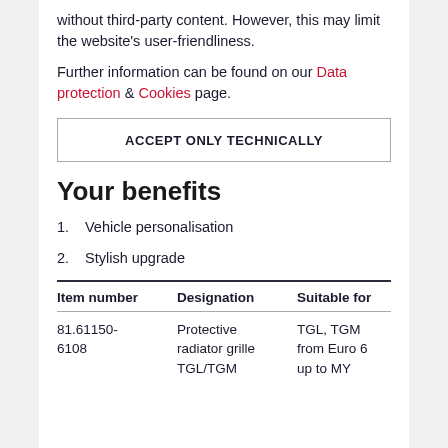without third-party content. However, this may limit the website's user-friendliness.
Further information can be found on our Data protection & Cookies page.
ACCEPT ONLY TECHNICALLY
Your benefits
1. Vehicle personalisation
2. Stylish upgrade
| Item number | Designation | Suitable for |
| --- | --- | --- |
| 81.61150-6108 | Protective radiator grille TGL/TGM | TGL, TGM from Euro 6 up to MY |